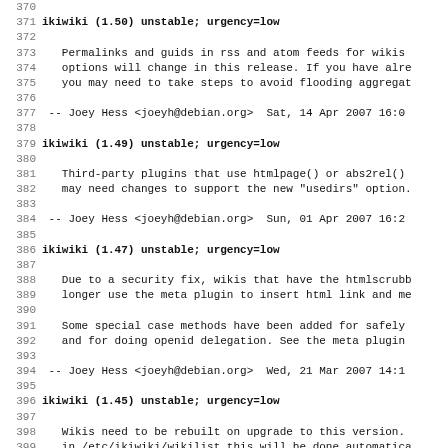370 (partial line, cut off at top)
371 ikiwiki (1.50) unstable; urgency=low
372
373   Permalinks and guids in rss and atom feeds for wikis
374   options will change in this release. If you have alre
375   you may need to take steps to avoid flooding aggregat
376
377  -- Joey Hess <joeyh@debian.org>  Sat, 14 Apr 2007 16:0
378
379 ikiwiki (1.49) unstable; urgency=low
380
381   Third-party plugins that use htmlpage() or abs2rel()
382   may need changes to support the new "usedirs" option.
383
384  -- Joey Hess <joeyh@debian.org>  Sun, 01 Apr 2007 16:2
385
386 ikiwiki (1.47) unstable; urgency=low
387
388   Due to a security fix, wikis that have the htmlscrubb
389   longer use the meta plugin to insert html link and me
390
391   Some special case methods have been added for safely
392   and for doing openid delegation. See the meta plugin
393
394  -- Joey Hess <joeyh@debian.org>  Wed, 21 Mar 2007 14:1
395
396 ikiwiki (1.45) unstable; urgency=low
397
398   Wikis need to be rebuilt on upgrade to this version.
399   in /etc/ikiwiki/wikilist this will be done automatica
400   package is upgraded. Or use ikiwiki-mass-rebuild to f
401
402  -- Joey Hess <joeyh@debian.org>  Wed,  7 Mar 2007 23:0